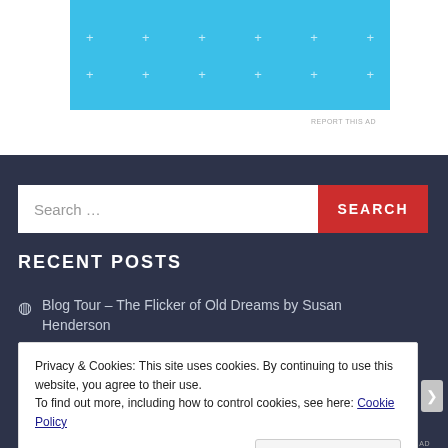[Figure (other): Blue advertisement banner with white plus/cross dot pattern]
REPORT THIS AD
Search ...
RECENT POSTS
Blog Tour – The Flicker of Old Dreams by Susan Henderson
Privacy & Cookies: This site uses cookies. By continuing to use this website, you agree to their use.
To find out more, including how to control cookies, see here: Cookie Policy
Close and accept
REPORT THIS AD